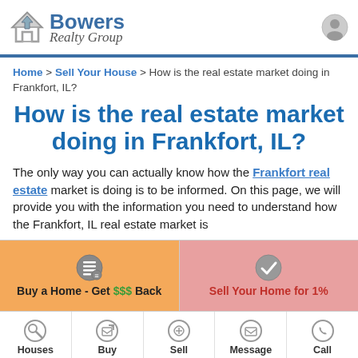[Figure (logo): Bowers Realty Group logo with house icon]
Home > Sell Your House > How is the real estate market doing in Frankfort, IL?
How is the real estate market doing in Frankfort, IL?
The only way you can actually know how the Frankfort real estate market is doing is to be informed. On this page, we will provide you with the information you need to understand how the Frankfort, IL real estate market is
[Figure (infographic): CTA strip: left side orange 'Buy a Home - Get $$$ Back', right side red 'Sell Your Home for 1%']
[Figure (infographic): Bottom navigation bar with Houses, Buy, Sell, Message, Call icons]